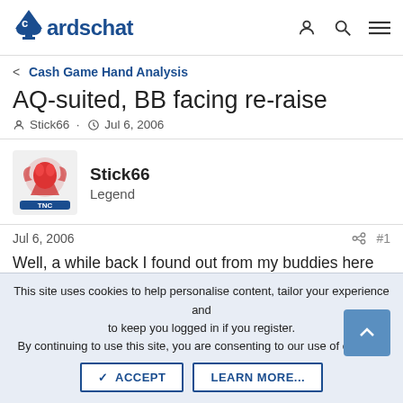CardsChat
Cash Game Hand Analysis
AQ-suited, BB facing re-raise
Stick66 · Jul 6, 2006
Stick66
Legend
Jul 6, 2006  #1
Well, a while back I found out from my buddies here at CC that I was a bit off regarding the strength of KQo. Now I've run into another tricky hand in a tricky situation.
This site uses cookies to help personalise content, tailor your experience and to keep you logged in if you register.
By continuing to use this site, you are consenting to our use of cookies.
ACCEPT  LEARN MORE...